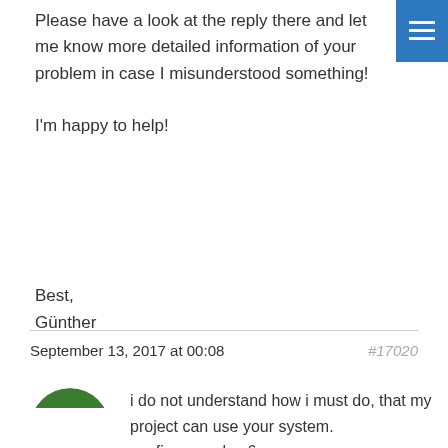Please have a look at the reply there and let me know more detailed information of your problem in case I misunderstood something!

I'm happy to help!

Best,
Günther
September 13, 2017 at 00:08
#17020
[Figure (illustration): Pixel art style avatar showing a character with green and purple/blue colors, circular crop]
i do not understand how i must do, that my project can use your system. configure v-play 6